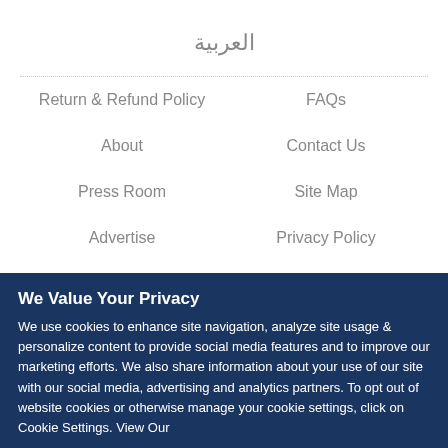العربية
Return & Refund Policy
FAQs
About
Contact Us
Press Room
Site Map
Advertise
Privacy Policy
SA Custom Media
California Consumer Privacy Statement
Terms of Use
We Value Your Privacy
We use cookies to enhance site navigation, analyze site usage & personalize content to provide social media features and to improve our marketing efforts. We also share information about your use of our site with our social media, advertising and analytics partners. To opt out of website cookies or otherwise manage your cookie settings, click on Cookie Settings. View Our